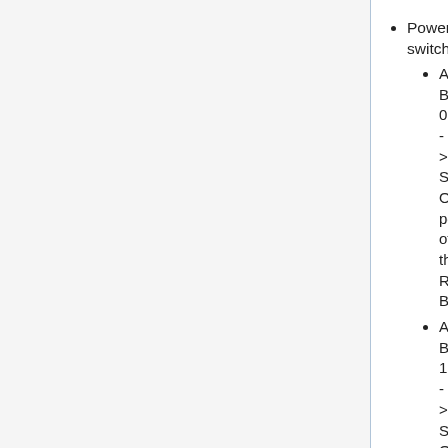Power switching:
Added BA253 0 -> Switch ON/OFF power of the RS485 Bus
Added BA253 1 -> Switch ON/OFF power of the CAN bus
Firmware will make sure that all communication is stopped before switching OFF one of the busses
API Instruction "GC" (Info_type=0) has been modified to include the power state of the RS485 and CAN bus
Event type 253 has been added to indicate a power change status
I2C
I2C has been rewritten to more easily integrate different kind of chips
Blocking and non-blocking